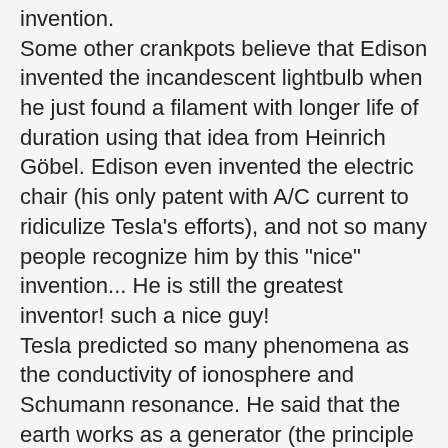invention. Some other crankpots believe that Edison invented the incandescent lightbulb when he just found a filament with longer life of duration using that idea from Heinrich Göbel. Edison even invented the electric chair (his only patent with A/C current to ridiculize Tesla's efforts), and not so many people recognize him by this "nice" invention... He is still the greatest inventor! such a nice guy! Tesla predicted so many phenomena as the conductivity of ionosphere and Schumann resonance. He said that the earth works as a generator (the principle of magnetosphere) and was the first who proposed the idea of geothermal energy, and probablly one of first ecologists against petrol explotation that had ever existed. Tesla just had the problem that he just sometimes talked too much to make easier to others to steal his ideas, and of course!, he was probablly wrong by beeing against relativity (he